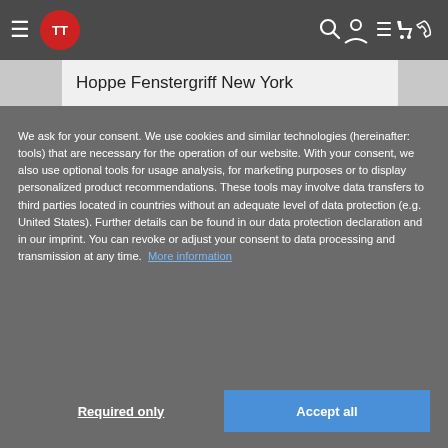TT [logo] — navigation bar with hamburger menu, search, account, list, cart, phone icons
Hoppe Fenstergriff New York
We ask for your consent. We use cookies and similar technologies (hereinafter: tools) that are necessary for the operation of our website. With your consent, we also use optional tools for usage analysis, for marketing purposes or to display personalized product recommendations. These tools may involve data transfers to third parties located in countries without an adequate level of data protection (e.g. United States). Further details can be found in our data protection declaration and in our imprint. You can revoke or adjust your consent to data processing and transmission at any time. More information
Required only | Accept all